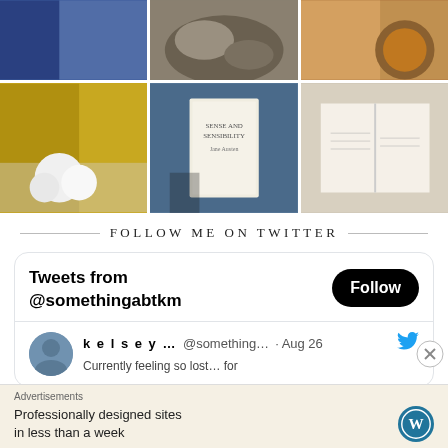[Figure (photo): Instagram photo grid, top row: blue fabric/book, rocks/cat, coffee cup]
[Figure (photo): Instagram photo grid, bottom row: books with flowers and yellow book, hand holding Sense and Sensibility book, person reading open book with coffee]
FOLLOW ME ON TWITTER
[Figure (screenshot): Twitter widget showing Tweets from @somethingabtkm with Follow button and a tweet from kelsey... @something... Aug 26]
Advertisements
Professionally designed sites in less than a week